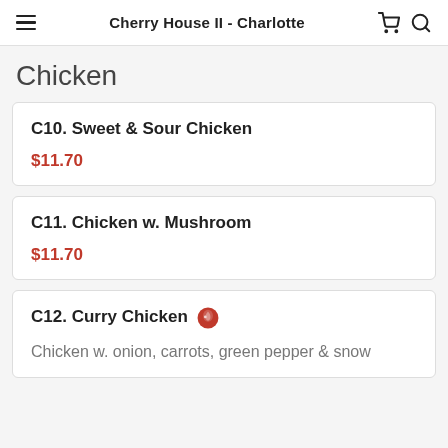Cherry House II - Charlotte
Chicken
C10. Sweet & Sour Chicken
$11.70
C11. Chicken w. Mushroom
$11.70
C12. Curry Chicken
Chicken w. onion, carrots, green pepper & snow